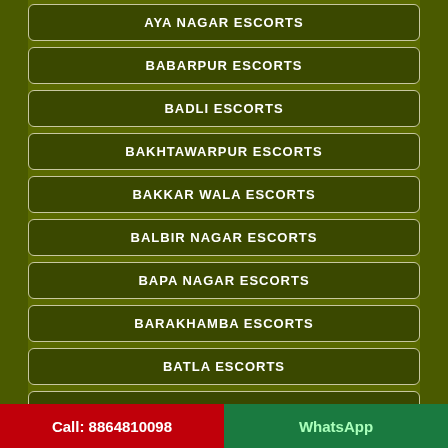AYA NAGAR ESCORTS
BABARPUR ESCORTS
BADLI ESCORTS
BAKHTAWARPUR ESCORTS
BAKKAR WALA ESCORTS
BALBIR NAGAR ESCORTS
BAPA NAGAR ESCORTS
BARAKHAMBA ESCORTS
BATLA ESCORTS
BAWANA ESCORTS
BEGUMPUR ESCORTS
BHAGWAN DAS ROAD ESCORTS
Call: 8864810098   WhatsApp